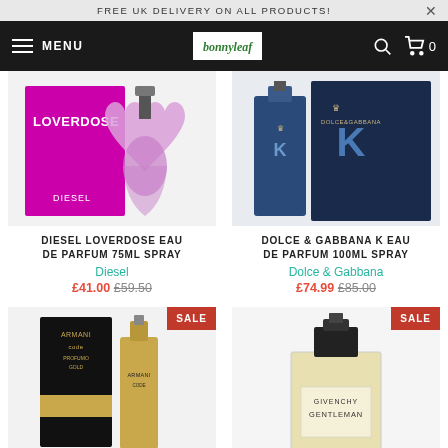FREE UK DELIVERY ON ALL PRODUCTS!
[Figure (screenshot): E-commerce navigation bar with hamburger menu, MENU text, bonnyLeaf logo, search icon, and cart icon showing 0 items]
[Figure (photo): Diesel Loverdose Eau de Parfum 75ml Spray product image - pink heart-shaped bottle with magenta box]
DIESEL LOVERDOSE EAU DE PARFUM 75ML SPRAY
Diesel
£41.00 £59.50
[Figure (photo): Dolce & Gabbana K Eau de Parfum 100ml Spray product image - dark navy blue bottle and box with crown logo]
DOLCE & GABBANA K EAU DE PARFUM 100ML SPRAY
Dolce & Gabbana
£74.99 £85.00
[Figure (photo): Armani Code Absolut Gold product image with SALE badge - black and gold bottles]
[Figure (photo): Givenchy Gentleman product image with SALE badge - rectangular clear bottle with black cap]